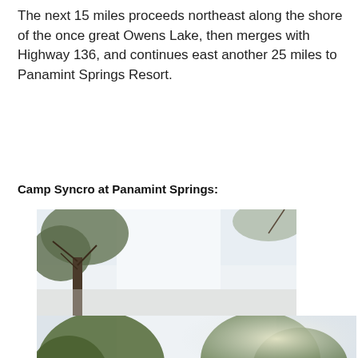The next 15 miles proceeds northeast along the shore of the once great Owens Lake, then merges with Highway 136, and continues east another 25 miles to Panamint Springs Resort.
Camp Syncro at Panamint Springs:
[Figure (photo): Partial photo showing bright sky and bare tree branches in upper portion, cut off on right side]
[Figure (photo): Photo showing trees and vegetation against bright sky with a vehicle (blue SUV/truck with roof rack) visible in lower right, at Panamint Springs campsite]